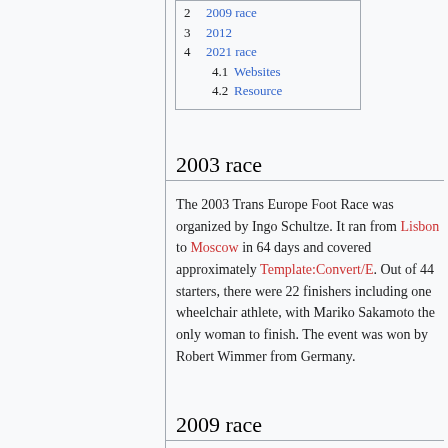2  2009 race
3  2012
4  2021 race
4.1  Websites
4.2  Resource
2003 race
The 2003 Trans Europe Foot Race was organized by Ingo Schultze. It ran from Lisbon to Moscow in 64 days and covered approximately Template:Convert/E. Out of 44 starters, there were 22 finishers including one wheelchair athlete, with Mariko Sakamoto the only woman to finish. The event was won by Robert Wimmer from Germany.
2009 race